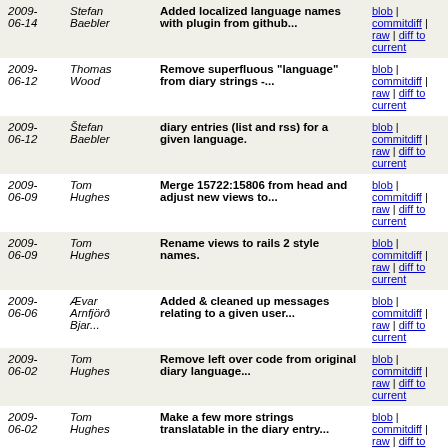| Date | Author | Message | Links |
| --- | --- | --- | --- |
| 2009-06-14 | Stefan Baebler | Added localized language names with plugin from github... | blob | commitdiff | raw | diff to current |
| 2009-06-12 | Thomas Wood | Remove superfluous "language" from diary strings -... | blob | commitdiff | raw | diff to current |
| 2009-06-12 | Štefan Baebler | diary entries (list and rss) for a given language. | blob | commitdiff | raw | diff to current |
| 2009-06-09 | Tom Hughes | Merge 15722:15806 from head and adjust new views to... | blob | commitdiff | raw | diff to current |
| 2009-06-09 | Tom Hughes | Rename views to rails 2 style names. | blob | commitdiff | raw | diff to current |
| 2009-06-06 | Ævar Arnfjörð Bjar... | Added & cleaned up messages relating to a given user... | blob | commitdiff | raw | diff to current |
| 2009-06-02 | Tom Hughes | Remove left over code from original diary language... | blob | commitdiff | raw | diff to current |
| 2009-06-02 | Tom Hughes | Make a few more strings translatable in the diary entry... | blob | commitdiff | raw | diff to current |
| 2009-05-31 | Tom Hughes | Merged l18N branch to head. | blob | commitdiff | raw | diff to current |
| 2009-05-31 | Shaun McDonald | Some more i18n html titles | blob | commitdiff | raw | diff to current |
| 2009-... | Tom... | ... | blob | |